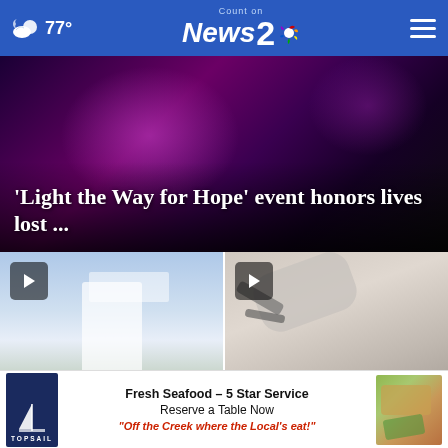77° Count on News 2 NBC
[Figure (photo): Purple/dark concert or event lighting background with hero overlay text]
'Light the Way for Hope' event honors lives lost ...
[Figure (photo): Emanuel Nine Memorial architectural rendering — outdoor plaza with white columns and blue sky]
Emanuel Nine Memorial in the works could fu...
[Figure (photo): Lowcountry representative files — dental/medical chair equipment close-up]
Lowcountry representative files ...
[Figure (photo): Topsail restaurant advertisement — Fresh Seafood 5 Star Service Reserve a Table Now 'Off the Creek where the Local's eat!']